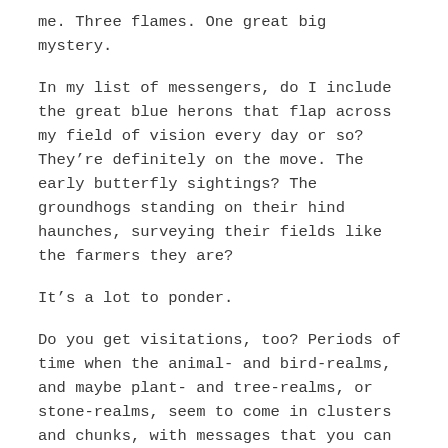me. Three flames. One great big mystery.
In my list of messengers, do I include the great blue herons that flap across my field of vision every day or so? They’re definitely on the move. The early butterfly sightings? The groundhogs standing on their hind haunches, surveying their fields like the farmers they are?
It’s a lot to ponder.
Do you get visitations, too? Periods of time when the animal- and bird-realms, and maybe plant- and tree-realms, or stone-realms, seem to come in clusters and chunks, with messages that you can decipher if you only take the time to meditate and contemplate their meanings?
I write this in the moments before I head upstairs to